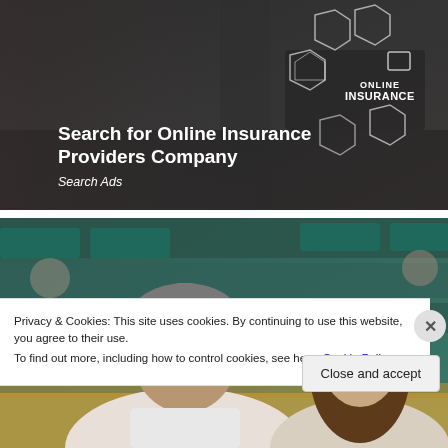[Figure (photo): Person in suit touching a digital touchscreen displaying icons for online insurance services including home, health, car, and shopping cart with text 'ONLINE INSURANCE'. Bold white text overlay reads 'Search for Online Insurance Providers Company' with italic 'Search Ads' below.]
[Figure (photo): Two people sitting in stadium seating - a man in sunglasses with gray hair on the left and a woman with long brown hair and sunglasses on the right, teal/green seats visible in background.]
Privacy & Cookies: This site uses cookies. By continuing to use this website, you agree to their use.
To find out more, including how to control cookies, see here: Cookie Policy